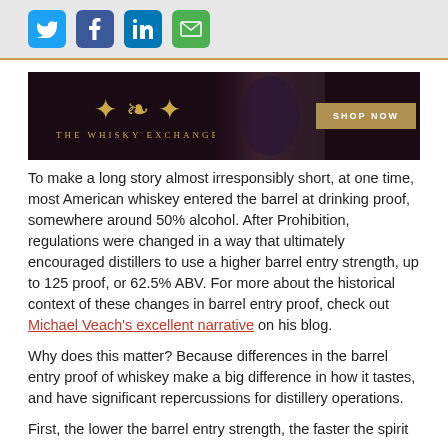[Figure (other): Social media share icons: Twitter (blue), Facebook (dark blue), LinkedIn (blue), Email (green)]
[Figure (other): The Whisky Exchange advertisement banner with crest logo and SHOP NOW button]
To make a long story almost irresponsibly short, at one time, most American whiskey entered the barrel at drinking proof, somewhere around 50% alcohol. After Prohibition, regulations were changed in a way that ultimately encouraged distillers to use a higher barrel entry strength, up to 125 proof, or 62.5% ABV. For more about the historical context of these changes in barrel entry proof, check out Michael Veach's excellent narrative on his blog.
Why does this matter? Because differences in the barrel entry proof of whiskey make a big difference in how it tastes, and have significant repercussions for distillery operations.
First, the lower the barrel entry strength, the faster the spirit